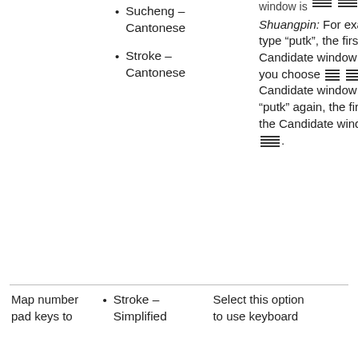Sucheng - Cantonese
Stroke - Cantonese
Shuangpin: For example, if you type “putk”, the first option in the Candidate window is [CJK chars]. If you choose [CJK char] [CJK char] in the Candidate window and type “putk” again, the first option in the Candidate window is [CJK chars].
Map number pad keys to
Stroke - Simplified
Select this option to use keyboard